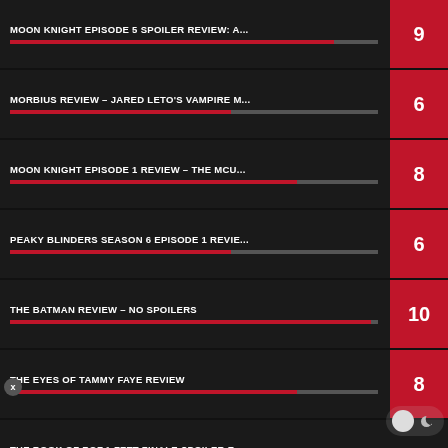MOON KNIGHT EPISODE 5 SPOILER REVIEW: A... — Score: 9
MORBIUS REVIEW – JARED LETO'S VAMPIRE M... — Score: 6
MOON KNIGHT EPISODE 1 REVIEW – THE MCU... — Score: 8
PEAKY BLINDERS SEASON 6 EPISODE 1 REVIE... — Score: 6
THE BATMAN REVIEW – NO SPOILERS — Score: 10
THE EYES OF TAMMY FAYE REVIEW — Score: 8
THE BOOK OF BOBA FETT FINALE SPOILER R...